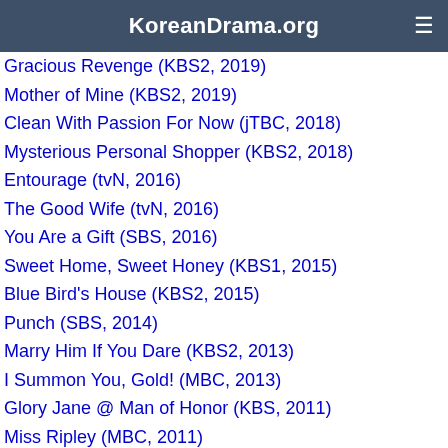KoreanDrama.org
Gracious Revenge (KBS2, 2019)
Mother of Mine (KBS2, 2019)
Clean With Passion For Now (jTBC, 2018)
Mysterious Personal Shopper (KBS2, 2018)
Entourage (tvN, 2016)
The Good Wife (tvN, 2016)
You Are a Gift (SBS, 2016)
Sweet Home, Sweet Honey (KBS1, 2015)
Blue Bird's House (KBS2, 2015)
Punch (SBS, 2014)
Marry Him If You Dare (KBS2, 2013)
I Summon You, Gold! (MBC, 2013)
Glory Jane @ Man of Honor (KBS, 2011)
Miss Ripley (MBC, 2011)
Stormy Lovers (MBC, 2010)
King Geunchogo (KBS1, 2010)
Invincible Lee Pyung Kang (KBS2, 2009)
Hot fel Det Came Again (KBS2, 2009)